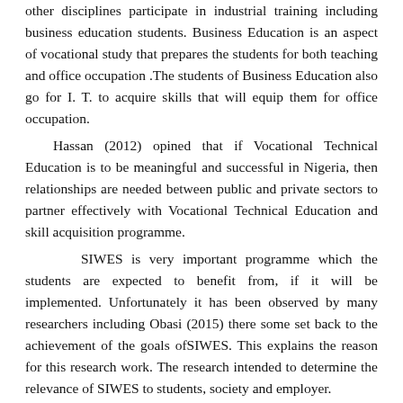other disciplines participate in industrial training including business education students. Business Education is an aspect of vocational study that prepares the students for both teaching and office occupation .The students of Business Education also go for I. T. to acquire skills that will equip them for office occupation.
  Hassan (2012) opined that if Vocational Technical Education is to be meaningful and successful in Nigeria, then relationships are needed between public and private sectors to partner effectively with Vocational Technical Education and skill acquisition programme.
        SIWES is very important programme which the students are expected to benefit from, if it will be implemented. Unfortunately it has been observed by many researchers including Obasi (2015) there some set back to the achievement of the goals ofSIWES. This explains the reason for this research work. The research intended to determine the relevance of SIWES to students, society and employer.